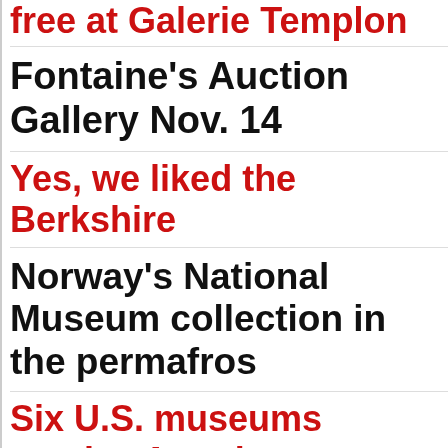free at Galerie Templon
Fontaine's Auction Gallery Nov. 14
Yes, we liked the Berkshire
Norway's National Museum collection in the permafros
Six U.S. museums receive America Foundation grants
Center for Maine Contemp Executive Director + Chief